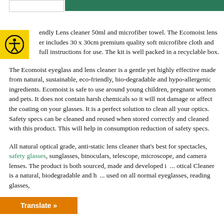endly Lens cleaner 50ml and microfiber towel. The Ecomoist lens er includes 30 x 30cm premium quality soft microfibre cloth and full instructions for use. The kit is well packed in a recyclable box.
The Ecomoist eyeglass and lens cleaner is a gentle yet highly effective made from natural, sustainable, eco-friendly, bio-degradable and hypo-allergenic ingredients. Ecomoist is safe to use around young children, pregnant women and pets. It does not contain harsh chemicals so it will not damage or affect the coating on your glasses. It is a perfect solution to clean all your optics. Safety specs can be cleaned and reused when stored correctly and cleaned with this product. This will help in consumption reduction of safety specs.
All natural optical grade, anti-static lens cleaner that's best for spectacles, safety glasses, sunglasses, binoculars, telescope, microscope, and camera lenses. The product is both sourced, made and developed i... otical Cleaner is a natural, biodegradable and h... used on all normal eyeglasses, reading glasses,